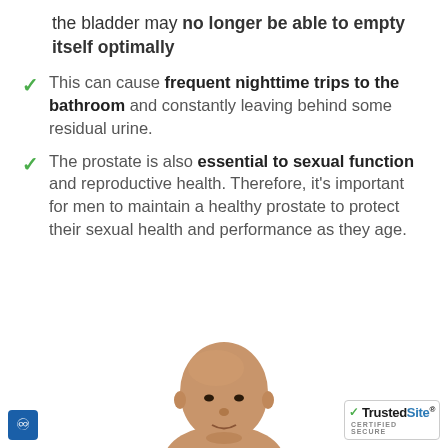the bladder may no longer be able to empty itself optimally
This can cause frequent nighttime trips to the bathroom and constantly leaving behind some residual urine.
The prostate is also essential to sexual function and reproductive health. Therefore, it's important for men to maintain a healthy prostate to protect their sexual health and performance as they age.
[Figure (photo): Photo of a bald man, visible from shoulders up, bottom portion of page]
[Figure (logo): TrustedSite CERTIFIED SECURE badge in bottom right corner]
[Figure (other): Accessibility icon button in bottom left corner]